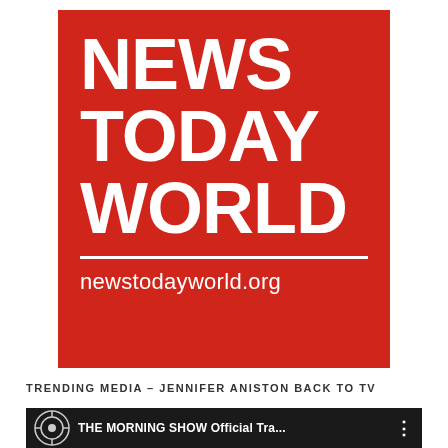[Figure (logo): News Today World logo: red background with white bold text 'NEWS TODAY WORLD', a white horizontal divider line, and the URL 'newstodayworld.org' in white below]
TRENDING MEDIA – JENNIFER ANISTON BACK TO TV
[Figure (screenshot): Video thumbnail showing 'THE MORNING SHOW Official Tra...' with a circular TV icon on dark background and three-dot menu icon]